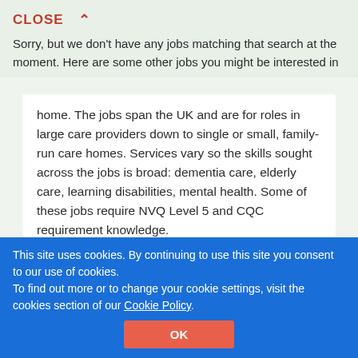CLOSE
Sorry, but we don't have any jobs matching that search at the moment. Here are some other jobs you might be interested in
home. The jobs span the UK and are for roles in large care providers down to single or small, family-run care homes. Services vary so the skills sought across the jobs is broad: dementia care, elderly care, learning disabilities, mental health. Some of these jobs require NVQ Level 5 and CQC requirement knowledge.
View Jobs
This site uses cookies. By continuing to use this site you consent to our use of cookies.
To find out more or to change your cookie settings, visit the cookies section of our Cookie Policy.
OK